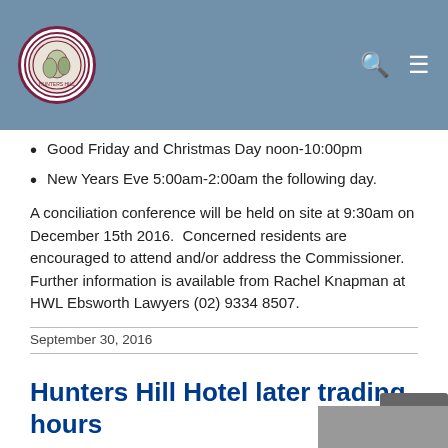Hunters Hill Council website header with logo, search and menu icons
Good Friday and Christmas Day noon-10:00pm
New Years Eve 5:00am-2:00am the following day.
A conciliation conference will be held on site at 9:30am on December 15th 2016.  Concerned residents are encouraged to attend and/or address the Commissioner.  Further information is available from Rachel Knapman at HWL Ebsworth Lawyers (02) 9334 8507.
September 30, 2016
Hunters Hill Hotel later trading hours